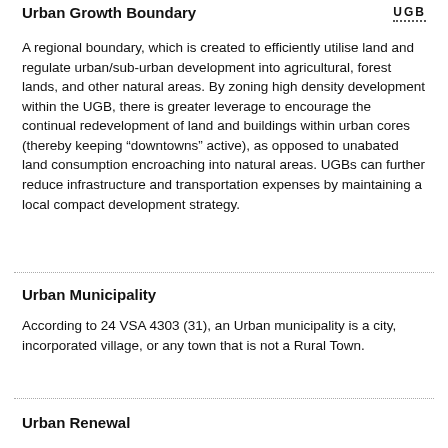Urban Growth Boundary
A regional boundary, which is created to efficiently utilise land and regulate urban/sub-urban development into agricultural, forest lands, and other natural areas. By zoning high density development within the UGB, there is greater leverage to encourage the continual redevelopment of land and buildings within urban cores (thereby keeping “downtowns” active), as opposed to unabated land consumption encroaching into natural areas. UGBs can further reduce infrastructure and transportation expenses by maintaining a local compact development strategy.
Urban Municipality
According to 24 VSA 4303 (31), an Urban municipality is a city, incorporated village, or any town that is not a Rural Town.
Urban Renewal